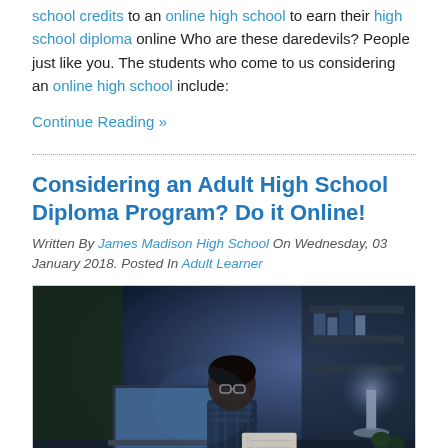school credits to an online high school to earn their high school diploma online Who are these daredevils? People just like you. The students who come to us considering an online high school include:
Continue Reading »
Considering an Adult High School Diploma Program? Do it Online!
Written By James Madison High School On Wednesday, 03 January 2018. Posted In Adult Learner
[Figure (photo): A person wearing glasses and a plaid shirt sitting at a dark desk at night, writing on paper with a laptop open in front of them, illuminated by blue ambient light]